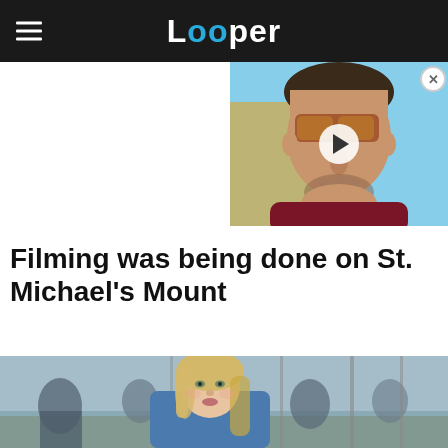Looper
[Figure (screenshot): Video thumbnail showing a man wearing orange-tinted sunglasses with a play button overlay]
Filming was being done on St. Michael's Mount
[Figure (photo): A blonde woman in medieval/fantasy costume (Game of Thrones style) with soldiers in background]